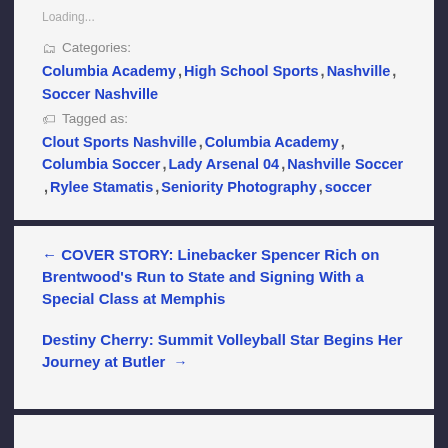Loading...
Categories: Columbia Academy, High School Sports, Nashville, Soccer Nashville
Tagged as: Clout Sports Nashville, Columbia Academy, Columbia Soccer, Lady Arsenal 04, Nashville Soccer, Rylee Stamatis, Seniority Photography, soccer
← COVER STORY: Linebacker Spencer Rich on Brentwood's Run to State and Signing With a Special Class at Memphis
Destiny Cherry: Summit Volleyball Star Begins Her Journey at Butler →